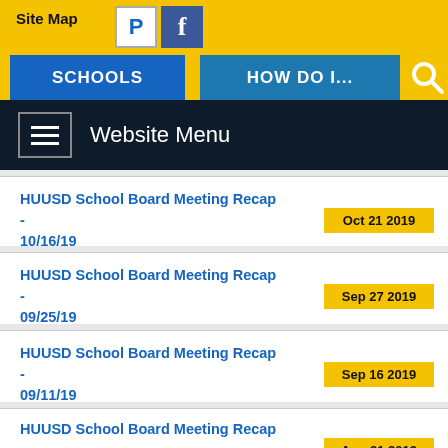Site Map | SCHOOLS | HOW DO I... | Website Menu
HUUSD School Board Meeting Recap - 10/16/19
HUUSD School Board Meeting Recap - 09/25/19
HUUSD School Board Meeting Recap - 09/11/19
HUUSD School Board Meeting Recap - 8/28/19